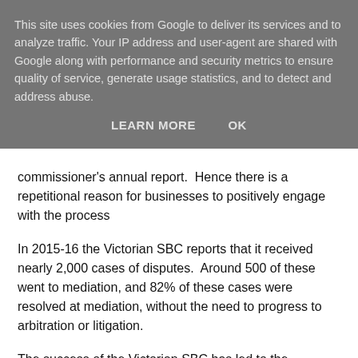This site uses cookies from Google to deliver its services and to analyze traffic. Your IP address and user-agent are shared with Google along with performance and security metrics to ensure quality of service, generate usage statistics, and to detect and address abuse.
LEARN MORE   OK
commissioner's annual report.  Hence there is a repetitional reason for businesses to positively engage with the process
In 2015-16 the Victorian SBC reports that it received nearly 2,000 cases of disputes.  Around 500 of these went to mediation, and 82% of these cases were resolved at mediation, without the need to progress to arbitration or litigation.
The success of the Victorian SBC has led to the establishment of Small Business Commissioners in New South Wales, Western Australia, South Australia and also nationally for Australia.